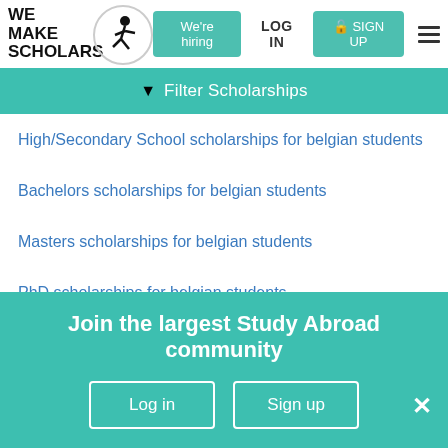[Figure (logo): We Make Scholars logo with person jumping and circular border, black text]
We're hiring | LOG IN | SIGN UP
Filter Scholarships
High/Secondary School scholarships for belgian students
Bachelors scholarships for belgian students
Masters scholarships for belgian students
PhD scholarships for belgian students
Post Doc scholarships for belgian students
Join the largest Study Abroad community
Log in | Sign up